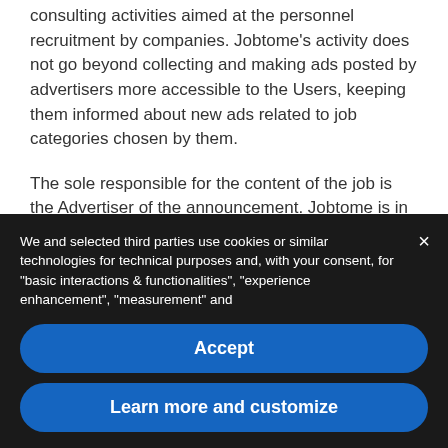consulting activities aimed at the personnel recruitment by companies. Jobtome's activity does not go beyond collecting and making ads posted by advertisers more accessible to the Users, keeping them informed about new ads related to job categories chosen by them.
The sole responsible for the content of the job is the Advertiser of the announcement. Jobtome is in no way involved in the negotiations between Advertisers and Users and exercises no control over the quality, safety or legality of the job opportunities, nor the truthfulness of the information sent by the Users to Advertisers.
The User shall indemnify and expressly release Jobtome
We and selected third parties use cookies or similar technologies for technical purposes and, with your consent, for "basic interactions & functionalities", "experience enhancement", "measurement" and
Accept
Learn more and customize